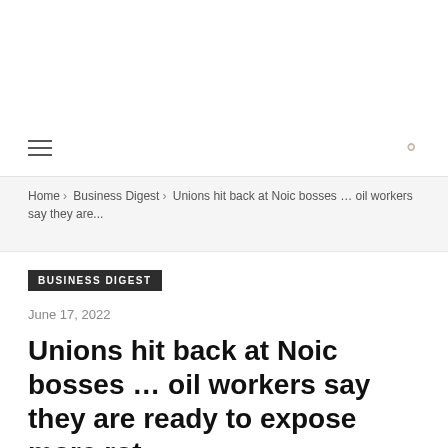≡  🔍
Home › Business Digest › Unions hit back at Noic bosses … oil workers say they are...
BUSINESS DIGEST
June 17, 2022
Unions hit back at Noic bosses … oil workers say they are ready to expose more rot
By The Zimbabwe Independent